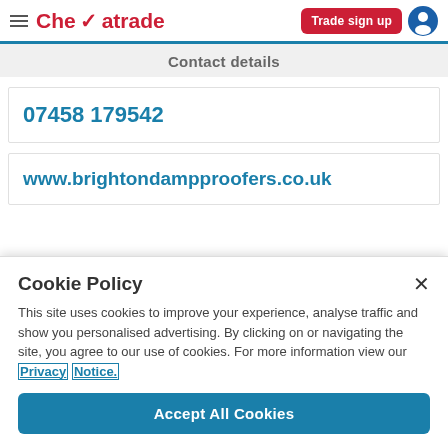Checkatrade — Trade sign up
Contact details
07458 179542
www.brightondampproofers.co.uk
Cookie Policy
This site uses cookies to improve your experience, analyse traffic and show you personalised advertising. By clicking on or navigating the site, you agree to our use of cookies. For more information view our Privacy Notice.
Accept All Cookies